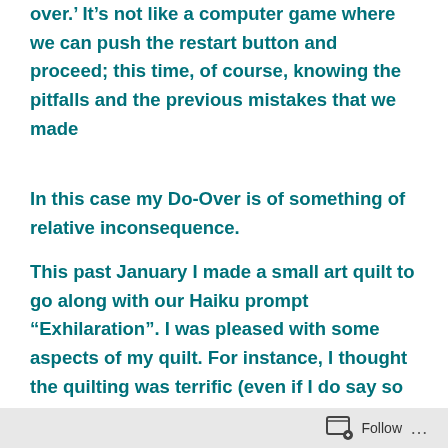over.’  It’s not like a computer game where we can push the restart button and proceed; this time, of course, knowing the pitfalls and the previous mistakes that we made
In this case my Do-Over is of something of relative inconsequence.
This past January I made a small art quilt to go along with our Haiku prompt “Exhilaration”.  I was pleased with some aspects of my quilt.  For instance, I thought the quilting was terrific (even if I do say so myself, lol), there was considerable texture (I had experimented with light molding paste) and the colors were bold and beautiful.
But the composition was awful to my critical eye and I
Follow